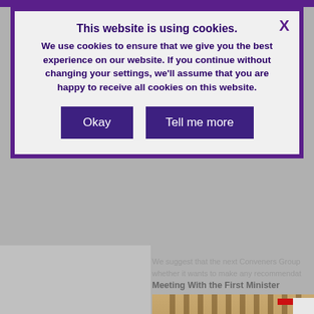This website is using cookies.
We use cookies to ensure that we give you the best experience on our website. If you continue without changing your settings, we'll assume that you are happy to receive all cookies on this website.
Okay
Tell me more
We suggest that the next Conveners Group whether it wants to make any recommendat
Meeting With the First Minister
[Figure (photo): A meeting scene showing multiple people seated around a curved table in what appears to be a formal committee or government meeting room with wooden paneling in the background.]